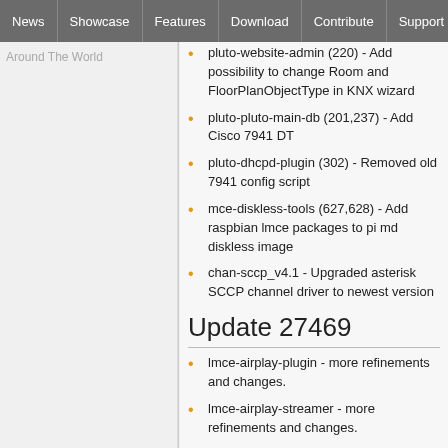News | Showcase | Features | Download | Contribute | Support
Around The World
pluto-website-admin (220) - Add possibility to change Room and FloorPlanObjectType in KNX wizard
pluto-pluto-main-db (201,237) - Add Cisco 7941 DT
pluto-dhcpd-plugin (302) - Removed old 7941 config script
mce-diskless-tools (627,628) - Add raspbian lmce packages to pi md diskless image
chan-sccp_v4.1 - Upgraded asterisk SCCP channel driver to newest version
Update 27469
lmce-airplay-plugin - more refinements and changes.
lmce-airplay-streamer - more refinements and changes.